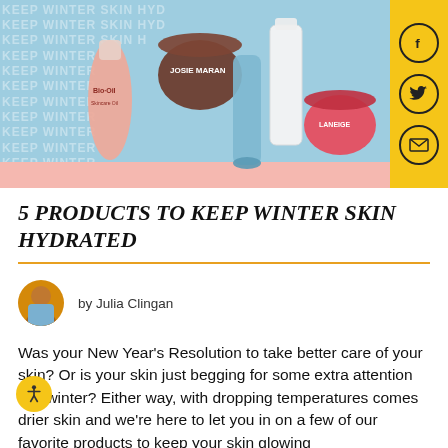[Figure (photo): Hero banner image showing winter skincare products including Bio-Oil, Josie Maran, Glamglow, a white serum bottle, and Laneige lip mask on a light blue background with repeating text 'KEEP WINTER SKIN HYDRATED'. Social media icons (Facebook, Twitter, email) on yellow sidebar on the right.]
5 PRODUCTS TO KEEP WINTER SKIN HYDRATED
by Julia Clingan
Was your New Year's Resolution to take better care of your skin? Or is your skin just begging for some extra attention this winter? Either way, with dropping temperatures comes drier skin and we're here to let you in on a few of our favorite products to keep your skin glowing